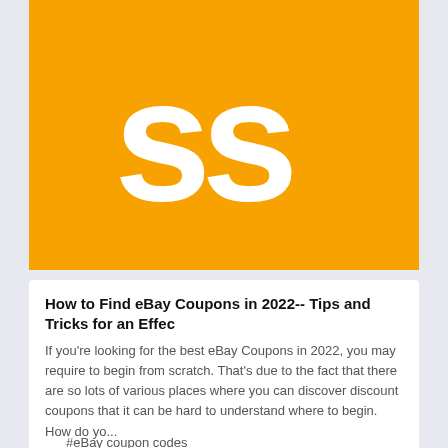[Figure (logo): Orange square logo with two white stylized letter S characters side by side]
How to Find eBay Coupons in 2022-- Tips and Tricks for an Effec
If you're looking for the best eBay Coupons in 2022, you may require to begin from scratch. That's due to the fact that there are so lots of various places where you can discover discount coupons that it can be hard to understand where to begin. How do yo...
#eBay coupon codes